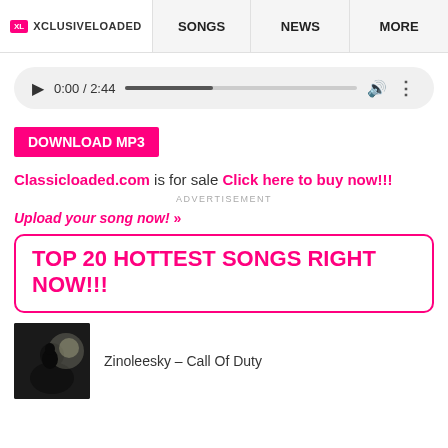XL XCLUSIVELOADED | SONGS | NEWS | MORE
[Figure (screenshot): Audio player showing 0:00 / 2:44 with play button, progress bar, volume and more icons]
DOWNLOAD MP3
Classicloaded.com is for sale Click here to buy now!!!
ADVERTISEMENT
Upload your song now! »
TOP 20 HOTTEST SONGS RIGHT NOW!!!
Zinoleesky – Call Of Duty